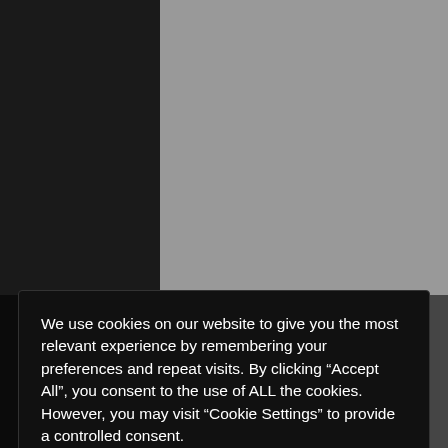Firm Hand
Girl Spanks Girl
Girls Bottom
Good Spanking
We use cookies on our website to give you the most relevant experience by remembering your preferences and repeat visits. By clicking “Accept All”, you consent to the use of ALL the cookies. However, you may visit “Cookie Settings” to provide a controlled consent.
Cookie settings | Accept All
Lynda Leigh Porn Star
Lynn Paula Russell
Marked Butts
Miss Jessica Wood
Momma Spankings